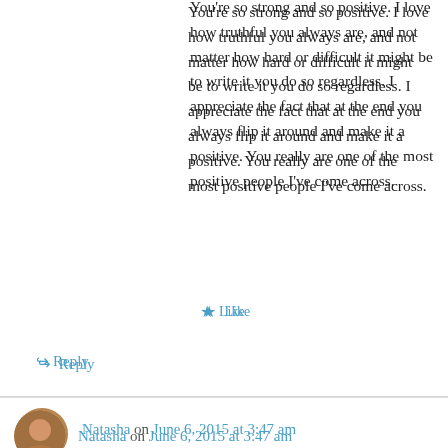You're so strong and so positive. I love how truthful you always are, and not matter how hard or difficult it might be to write it you do so regardless. I appreciate the fact that at the end you always flip it around and make it a positive. You really are one of the most positive people I've come across.
★ Like
↪ Reply
Natasha on June 6, 2015 at 3:47 am
Wow, Rachael, you've been through so much and I respect you so much for sharing your story with other people so honestly and openly. I often think of your analogy of the broken pottery made